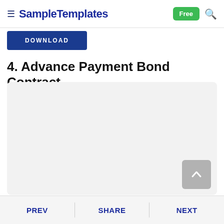SampleTemplates — Free
[Figure (screenshot): Blue DOWNLOAD button]
4. Advance Payment Bond Contract
[Figure (other): Light gray preview/placeholder box for the Advance Payment Bond Contract document]
PREV   SHARE   NEXT